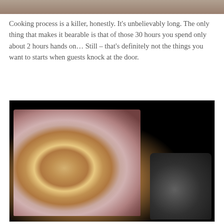[Figure (photo): Partial top edge of a photo, cropped — appears to show a close-up of food]
Cooking process is a killer, honestly. It's unbelievably long. The only thing that makes it bearable is that of those 30 hours you spend only about 2 hours hands on… Still – that's definitely not the things you want to starts when guests knock at the door.
[Figure (photo): A large meat pie (pork pie or game pie) with a slice cut out revealing layers of pale cooked meat filling, sitting on a dark plate with a decorative black toy steam locomotive figure beside it, set against a dark/black background.]